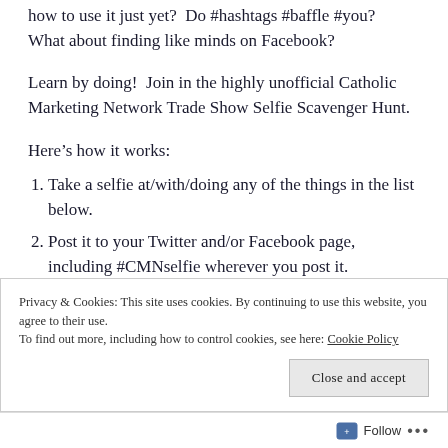how to use it just yet?  Do #hashtags #baffle #you?  What about finding like minds on Facebook?
Learn by doing!  Join in the highly unofficial Catholic Marketing Network Trade Show Selfie Scavenger Hunt.
Here’s how it works:
Take a selfie at/with/doing any of the things in the list below.
Post it to your Twitter and/or Facebook page, including #CMNselfie wherever you post it.
Privacy & Cookies: This site uses cookies. By continuing to use this website, you agree to their use.
To find out more, including how to control cookies, see here: Cookie Policy
Follow